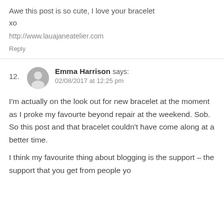Awe this post is so cute, I love your bracelet xo
http://www.lauajaneatelier.com
Reply
12. Emma Harrison says: 02/08/2017 at 12:25 pm
I'm actually on the look out for new bracelet at the moment as I proke my favourte beyond repair at the weekend. Sob. So this post and that bracelet couldn't have come along at a better time.
I think my favourite thing about blogging is the support – the support that you get from people yo